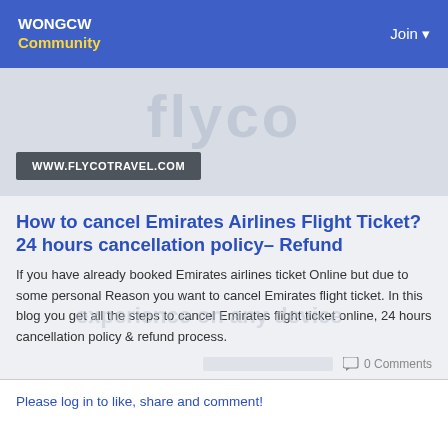WONGCW Community | Join
[Figure (screenshot): Hero image area with flyco travel watermark text and URL badge showing WWW.FLYCOTRAVEL.COM]
How to cancel Emirates Airlines Flight Ticket? 24 hours cancellation policy- Refund
If you have already booked Emirates airlines ticket Online but due to some personal Reason you want to cancel Emirates flight ticket. In this blog you get all the steps to cancel Emirates flight ticket online, 24 hours cancellation policy & refund process.
0 Comments
Please log in to like, share and comment!